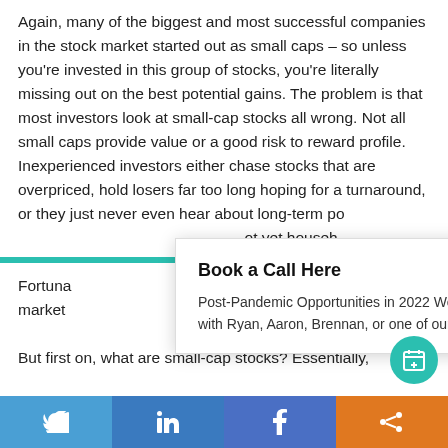Again, many of the biggest and most successful companies in the stock market started out as small caps – so unless you're invested in this group of stocks, you're literally missing out on the best potential gains. The problem is that most investors look at small-cap stocks all wrong. Not all small caps provide value or a good risk to reward profile. Inexperienced investors either chase stocks that are overpriced, hold losers far too long hoping for a turnaround, or they just never even hear about long-term potential investments on the stock market yet household names.
Fortunately, this market [offers] profitable small-c[ap stocks].
But first on, what are small-cap stocks? Essentially,
[Figure (infographic): Popup modal with teal top border. Title: 'Book a Call Here'. Body text: 'Post-Pandemic Opportunities in 2022 Webinar Attendees: Click here to book a complimentary 10-minute call with Ryan, Aaron, Brennan, or one of our staff and see what services may be right for you.' The link text is teal/green colored and bold.]
Social sharing bar with Twitter, LinkedIn, Facebook, and Share buttons